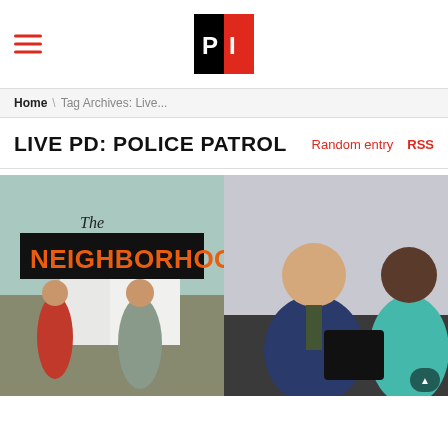PI (logo) — hamburger menu navigation
Home \ Tag Archives: Live...
LIVE PD: POLICE PATROL
Random entry   RSS
[Figure (photo): Two TV show promotional images side by side: left shows 'The Neighborhood' poster with two men standing outside; right shows a man in a suit and a woman in a bus or vehicle setting.]